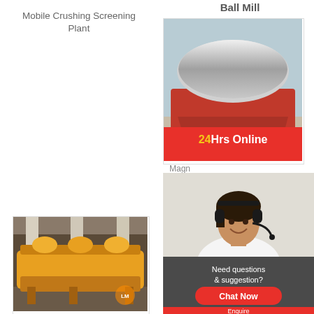Mobile Crushing Screening Plant
Ball Mill
[Figure (photo): Magnetic separator machine — red industrial machine with drum/roller on top, mounted on red frame]
Magn...
[Figure (photo): 24Hrs Online banner with customer service representative wearing headset, smiling. Dark grey box below with text: Need questions & suggestion? Chat Now. Enquire button at bottom.]
[Figure (photo): Flotation machine — yellow/orange industrial flotation equipment in factory setting with large columns/pillars]